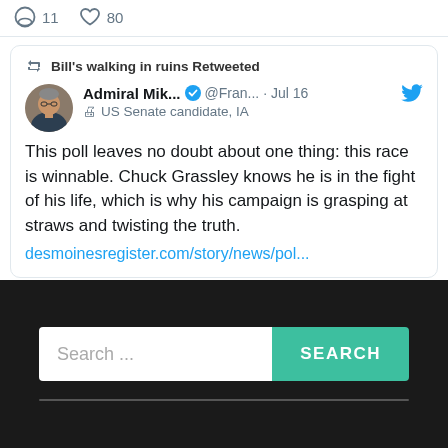11  80
[Figure (screenshot): Retweet card showing Admiral Mik... @Fran... Jul 16 tweet: 'This poll leaves no doubt about one thing: this race is winnable. Chuck Grassley knows he is in the fight of his life, which is why his campaign is grasping at straws and twisting the truth. desmoinesregister.com/story/news/pol...']
Bill's walking in ruins Retweeted
Admiral Mik... @Fran... · Jul 16
US Senate candidate, IA
This poll leaves no doubt about one thing: this race is winnable. Chuck Grassley knows he is in the fight of his life, which is why his campaign is grasping at straws and twisting the truth.
desmoinesregister.com/story/news/pol...